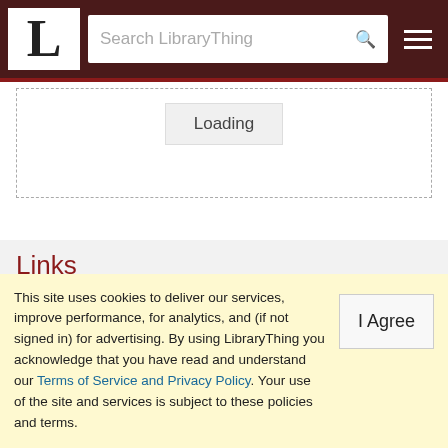L | Search LibraryThing
[Figure (screenshot): Loading button inside a dashed-border box]
Links
No links
This site uses cookies to deliver our services, improve performance, for analytics, and (if not signed in) for advertising. By using LibraryThing you acknowledge that you have read and understand our Terms of Service and Privacy Policy. Your use of the site and services is subject to these policies and terms.